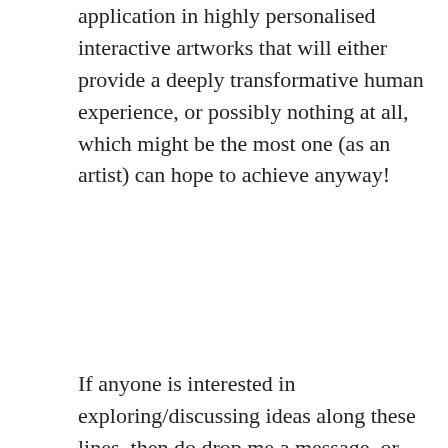application in highly personalised interactive artworks that will either provide a deeply transformative human experience, or possibly nothing at all, which might be the most one (as an artist) can hope to achieve anyway!
If anyone is interested in exploring/discussing ideas along these lines, then do drop me a message, or please share to people you know who might be involved in such things...
Share this:
Email  Facebook  Twitter  Reddit  Pocket